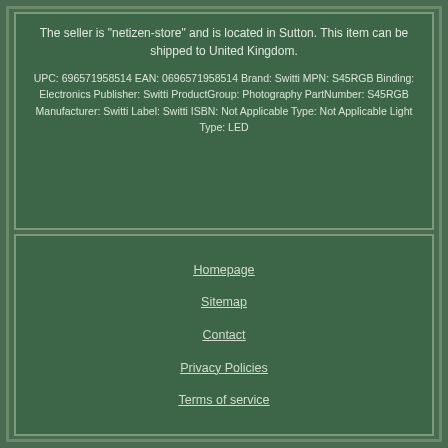The seller is "netizen-store" and is located in Sutton. This item can be shipped to United Kingdom.
UPC: 696571958514 EAN: 0696571958514 Brand: Switti MPN: S45RGB Binding: Electronics Publisher: Switti ProductGroup: Photography PartNumber: S45RGB Manufacturer: Switti Label: Switti ISBN: Not Applicable Type: Not Applicable Light Type: LED
Homepage
Sitemap
Contact
Privacy Policies
Terms of service